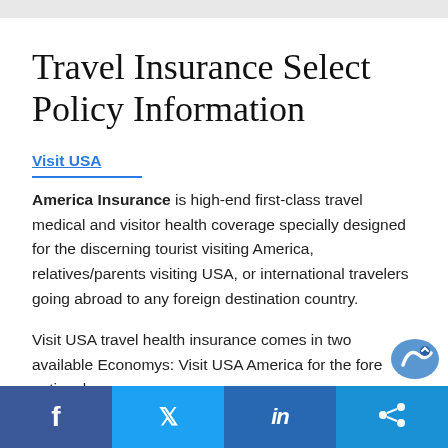Travel Insurance Select Policy Information
Visit USA America Insurance is high-end first-class travel medical and visitor health coverage specially designed for the discerning tourist visiting America, relatives/parents visiting USA, or international travelers going abroad to any foreign destination country.
Visit USA travel health insurance comes in two available Economys: Visit USA America for the foreign nationals